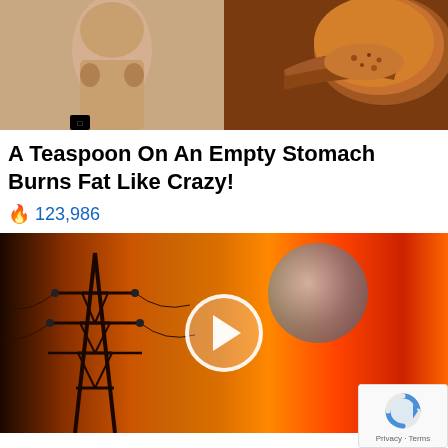[Figure (photo): Two side-by-side images: left shows a muscular torso/body, right shows a spoon with dark spice/seasoning powder]
A Teaspoon On An Empty Stomach Burns Fat Like Crazy!
🔥 123,986
[Figure (photo): Video thumbnail showing a power transmission tower/pylon against a dramatic orange sunset sky with a planet visible in the background, with a play button overlay]
Why You Need This Strange Device When The Grid Goes Down